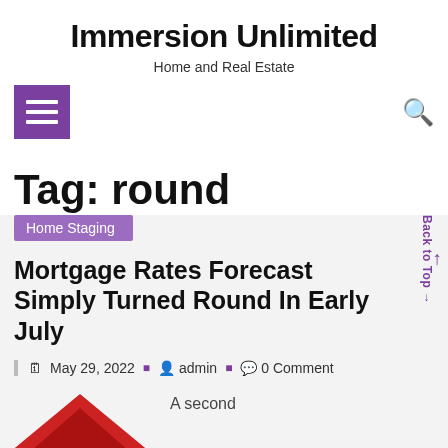Immersion Unlimited
Home and Real Estate
[Figure (other): Hamburger menu icon (three horizontal lines) on purple square background, and a search magnifying glass icon]
Tag: round
Home Staging
Mortgage Rates Forecast Simply Turned Round In Early July
May 29, 2022 · admin · 0 Comment
[Figure (illustration): Red triangle/roof shape illustration at bottom left]
A second